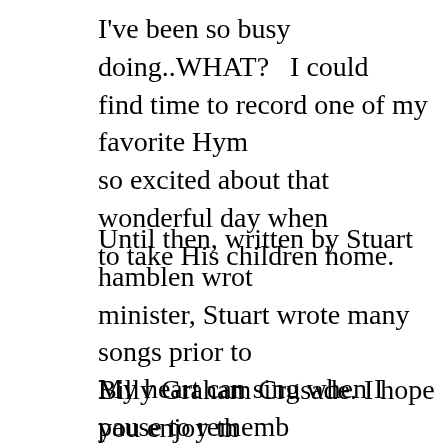I've been so busy doing..WHAT?   I could find time to record one of my favorite Hym so excited about that wonderful day when to take His children home.
Until then, written by Stuart hamblen wrot minister, Stuart wrote many songs prior to Billy Graham Crusade. I hope you enjoy th in a number of Hymnals.
My heart can sing when I pause to rememb A heartache here is but a stepping stone Along a path that's winding always upwar